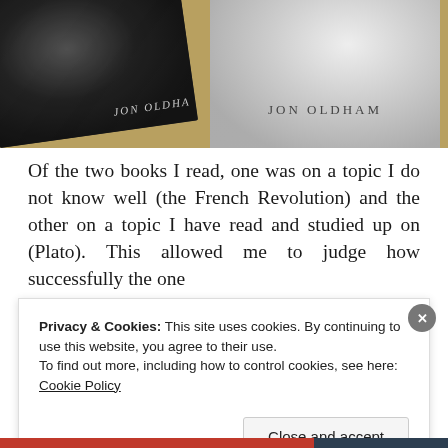[Figure (photo): Two book covers by Jon Oldham shown overlapping: left book has a dark battle scene illustration (French Revolution), right book has a grayscale statue image. Both covers display the author name JON OLDHAM.]
Of the two books I read, one was on a topic I do not know well (the French Revolution) and the other on a topic I have read and studied up on (Plato). This allowed me to judge how successfully the one
Privacy & Cookies: This site uses cookies. By continuing to use this website, you agree to their use.
To find out more, including how to control cookies, see here: Cookie Policy
Close and accept